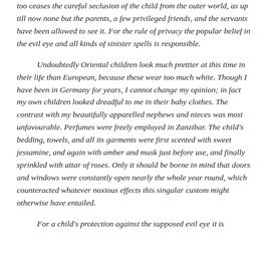too ceases the careful seclusion of the child from the outer world, as up till now none but the parents, a few privileged friends, and the servants have been allowed to see it. For the rule of privacy the popular belief in the evil eye and all kinds of sinister spells is responsible.
Undoubtedly Oriental children look much prettier at this time in their life than European, because these wear too much white. Though I have been in Germany for years, I cannot change my opinion; in fact my own children looked dreadful to me in their baby clothes. The contrast with my beautifully apparelled nephews and nieces was most unfavourable. Perfumes were freely employed in Zanzibar. The child's bedding, towels, and all its garments were first scented with sweet jessamine, and again with amber and musk just before use, and finally sprinkled with attar of roses. Only it should be borne in mind that doors and windows were constantly open nearly the whole year round, which counteracted whatever noxious effects this singular custom might otherwise have entailed.
For a child's protection against the supposed evil eye it is